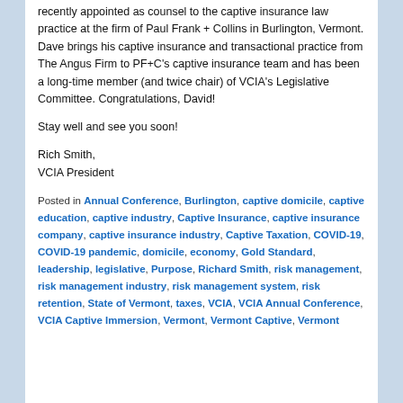recently appointed as counsel to the captive insurance law practice at the firm of Paul Frank + Collins in Burlington, Vermont. Dave brings his captive insurance and transactional practice from The Angus Firm to PF+C's captive insurance team and has been a long-time member (and twice chair) of VCIA's Legislative Committee. Congratulations, David!
Stay well and see you soon!
Rich Smith,
VCIA President
Posted in Annual Conference, Burlington, captive domicile, captive education, captive industry, Captive Insurance, captive insurance company, captive insurance industry, Captive Taxation, COVID-19, COVID-19 pandemic, domicile, economy, Gold Standard, leadership, legislative, Purpose, Richard Smith, risk management, risk management industry, risk management system, risk retention, State of Vermont, taxes, VCIA, VCIA Annual Conference, VCIA Captive Immersion, Vermont, Vermont Captive, Vermont